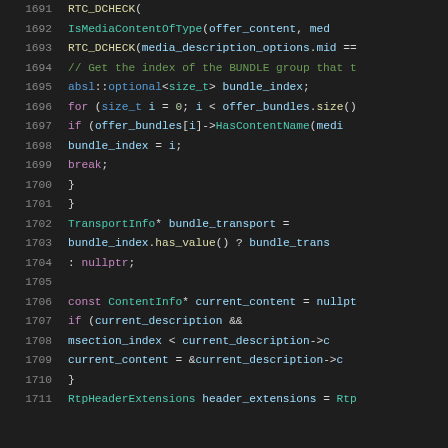[Figure (screenshot): Source code listing showing C++ code lines 1691-1711, with syntax highlighting on a dark background. Shows RTC_DCHECK calls, a for loop searching for bundle index, TransportInfo pointer assignment, ContentInfo pointer, and RtpHeaderExtensions declaration.]